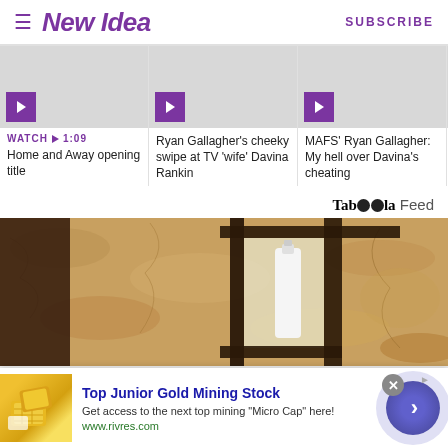New Idea | SUBSCRIBE
[Figure (screenshot): Three video thumbnails in a horizontal row with purple play buttons. Video 1: WATCH 1:09 - Home and Away opening title. Video 2: Ryan Gallagher's cheeky swipe at TV 'wife' Davina Rankin. Video 3: MAFS' Ryan Gallagher: My hell over Davina's cheating. Partial fourth item.]
WATCH ▶ 1:09
Home and Away opening title
Ryan Gallagher's cheeky swipe at TV 'wife' Davina Rankin
MAFS' Ryan Gallagher: My hell over Davina's cheating
Taboola Feed
[Figure (photo): Close-up photo of a lantern mounted on a textured stone/stucco wall, with a white milk bottle placed inside the lantern]
Top Junior Gold Mining Stock
Get access to the next top mining "Micro Cap" here!
www.rivres.com